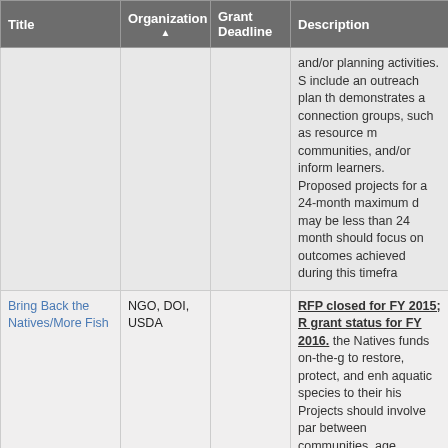| Title | Organization ▲ | Grant Deadline | Description |
| --- | --- | --- | --- |
|  |  |  | and/or planning activities. S… include an outreach plan th… demonstrates a connection… groups, such as resource m… communities, and/or inform… learners. Proposed projects… for a 24-month maximum d… may be less than 24 month… should focus on outcomes … achieved during this timefra… |
| Bring Back the Natives/More Fish | NGO, DOI, USDA |  | RFP closed for FY 2015; R… grant status for FY 2016. … the Natives funds on-the-g… to restore, protect, and enh… aquatic species to their his… Projects should involve par… between communities, age… landowners, and organizati… should focus on habitat ne… species such as fish, invert… amphibians. The Bring Bac… Natives/More Fish… |